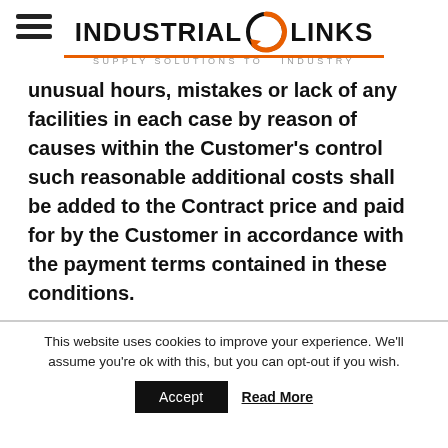INDUSTRIAL LINKS — SUPPLY SOLUTIONS TO INDUSTRY
unusual hours, mistakes or lack of any facilities in each case by reason of causes within the Customer's control such reasonable additional costs shall be added to the Contract price and paid for by the Customer in accordance with the payment terms contained in these conditions.
This website uses cookies to improve your experience. We'll assume you're ok with this, but you can opt-out if you wish.
Accept   Read More